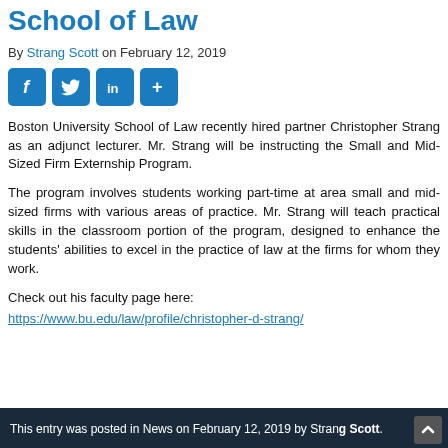School of Law
By Strang Scott on February 12, 2019
[Figure (other): Social sharing icons: Facebook, Twitter, LinkedIn, Share (+)]
Boston University School of Law recently hired partner Christopher Strang as an adjunct lecturer.  Mr. Strang will be instructing the Small and Mid-Sized Firm Externship Program.
The program involves students working part-time at area small and mid-sized firms with various areas of practice.  Mr. Strang will teach practical skills in the classroom portion of the program, designed to enhance the students' abilities to excel in the practice of law at the firms for whom they work.
Check out his faculty page here:
https://www.bu.edu/law/profile/christopher-d-strang/
This entry was posted in News on February 12, 2019 by Strang Scott.